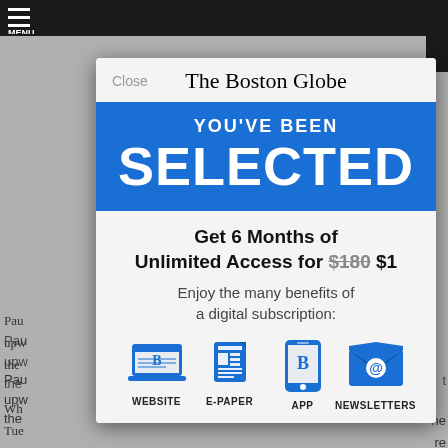[Figure (screenshot): Screenshot of The Boston Globe website with a subscription modal overlay. Background shows a dark top navigation bar and partially visible news article text. The modal displays The Boston Globe logo, a blue banner reading 'YOU'VE BEEN SELECTED', an offer for '6 Months of Unlimited Access for $180 $1', and four subscription benefit icons: Website, E-Paper, App, Newsletters.]
The Boston Globe
YOU'VE BEEN
SELECTED
Get 6 Months of Unlimited Access for $180 $1
Enjoy the many benefits of a digital subscription:
WEBSITE
E-PAPER
APP
NEWSLETTERS